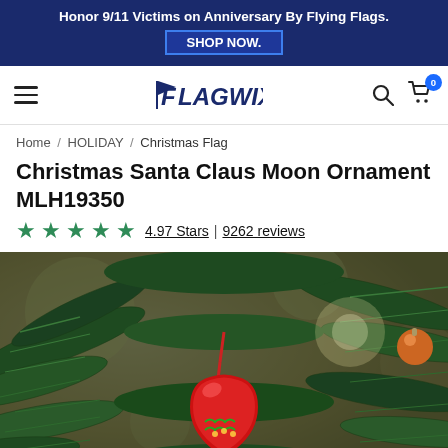Honor 9/11 Victims on Anniversary By Flying Flags. SHOP NOW.
[Figure (logo): Flagwix website navigation bar with hamburger menu, Flagwix logo, search icon, and cart icon with badge showing 0]
Home / HOLIDAY / Christmas Flag
Christmas Santa Claus Moon Ornament MLH19350
4.97 Stars | 9262 reviews
[Figure (photo): Close-up photo of a Christmas ornament hanging on a green pine tree. The ornament is red with a ribbon hanger, partially visible against blurred background with warm tones.]